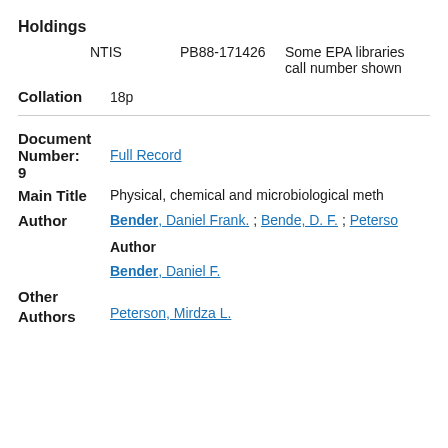Holdings
NTIS   PB88-171426   Some EPA libraries call number shown
Collation   18p
Document
Number:   Full Record
9
Main Title   Physical, chemical and microbiological meth
Author   Bender, Daniel Frank. ; Bende, D. F. ; Peterson
Author
Bender, Daniel F.
Other Authors   Peterson, Mirdza L.